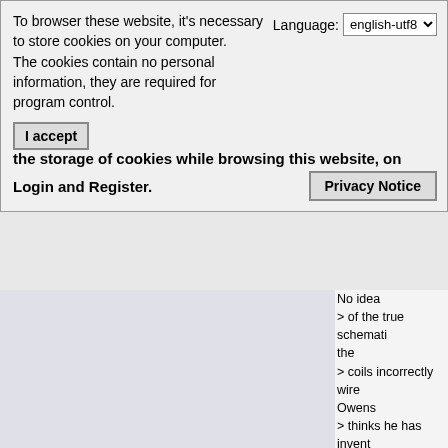To browser these website, it's necessary to store cookies on your computer.
The cookies contain no personal information, they are required for program control.
Language: english-utf8
I accept the storage of cookies while browsing this website, on Login and Register.
Privacy Notice
No idea
> of the true schemati the
> coils incorrectly wire Owens
> thinks he has invent Known
> about town as a "tink 18 years
> working on the conc nation's,
> if not the world's, de pending
> prototype for a gene this way,"
> he said. "Static elect stick your
> hand in Styrofoam p
> electricity. My machi as well
> as producing more. magnifies
> the charge and conv out of 12